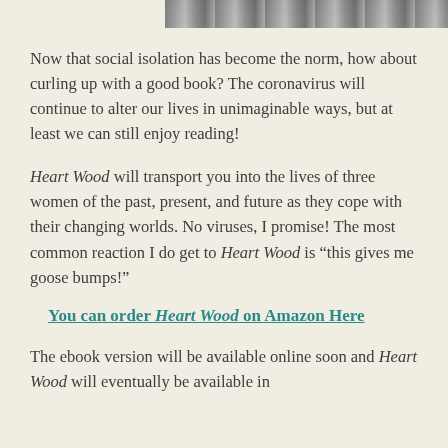[Figure (photo): Partial top strip of a photo, appears to show a natural outdoor scene with grey/white tones]
Now that social isolation has become the norm, how about curling up with a good book? The coronavirus will continue to alter our lives in unimaginable ways, but at least we can still enjoy reading!
Heart Wood will transport you into the lives of three women of the past, present, and future as they cope with their changing worlds. No viruses, I promise! The most common reaction I do get to Heart Wood is “this gives me goose bumps!”
You can order Heart Wood on Amazon Here
The ebook version will be available online soon and Heart Wood will eventually be available in